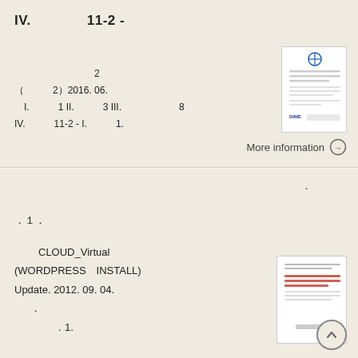IV.　　　　11-2 -
2
（　　　　2）2016. 06.
I.　　　　1 II.　　　　3 III.　　　　　　8
IV.　　　　11-2 - I.　　　　1.
[Figure (other): Document thumbnail with blue circle icon and DIME logo at bottom]
More information →
.
．１．
CLOUD_Virtual
(WORDPRESS　INSTALL)
Update. 2012. 09. 04.
．
．1.
[Figure (other): Document thumbnail with red text lines]